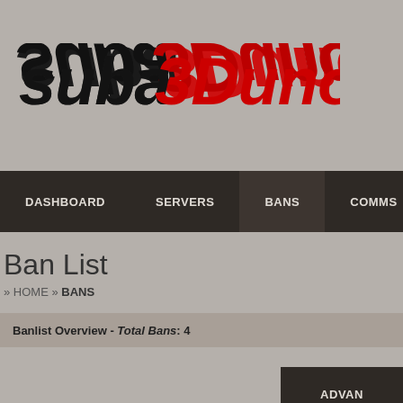[Figure (logo): SourceBans logo with stylized text 'sourcebans' in black and red mirrored 3D lettering on gray background]
DASHBOARD   SERVERS   BANS   COMMS
Ban List
» HOME » BANS
Banlist Overview - Total Bans: 4
ADVAN